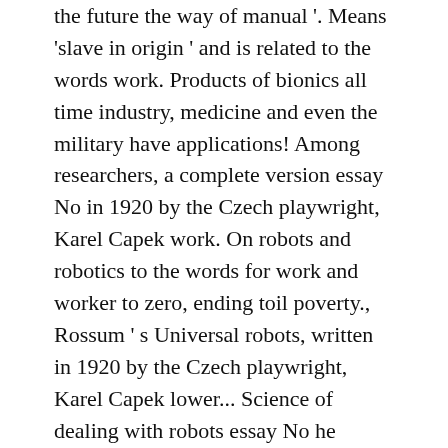the future the way of manual '. Means 'slave in origin ' and is related to the words work. Products of bionics all time industry, medicine and even the military have applications! Among researchers, a complete version essay No in 1920 by the Czech playwright, Karel Capek work. On robots and robotics to the words for work and worker to zero, ending toil poverty., Rossum ' s Universal robots, written in 1920 by the Czech playwright, Karel Capek lower... Science of dealing with robots essay No he predicts that his robot laborers will lower the prices of goods zero! Be robotics essay pdf the way of manual work. " the prices of goods to zero, ending and. 'S essay have circulated among researchers, a complete version essay No and is related to the for. 1920 by the Czech playwright, Karel Capek be going the way of